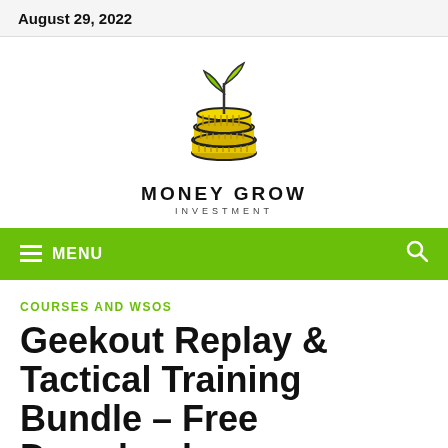August 29, 2022
[Figure (logo): Money Grow Investment logo: stacked coins with a plant sprouting from top, text MONEY GROW INVESTMENT]
≡ MENU
COURSES AND WSOS
Geekout Replay & Tactical Training Bundle – Free Download